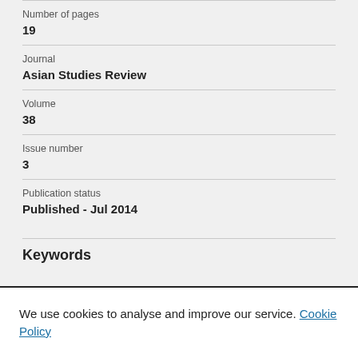Number of pages
19
Journal
Asian Studies Review
Volume
38
Issue number
3
Publication status
Published - Jul 2014
Keywords
We use cookies to analyse and improve our service. Cookie Policy